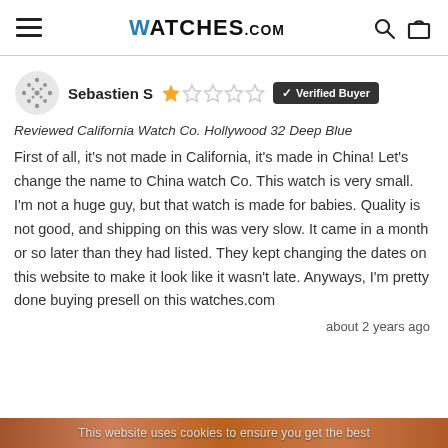WATCHES.COM
Sebastien S — 2 out of 5 stars — Verified Buyer
Reviewed California Watch Co. Hollywood 32 Deep Blue
First of all, it's not made in California, it's made in China! Let's change the name to China watch Co. This watch is very small. I'm not a huge guy, but that watch is made for babies. Quality is not good, and shipping on this was very slow. It came in a month or so later than they had listed. They kept changing the dates on this website to make it look like it wasn't late. Anyways, I'm pretty done buying presell on this watches.com
about 2 years ago